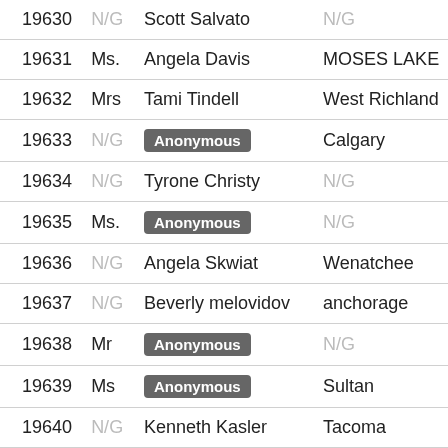| ID | Salutation | Name | City |
| --- | --- | --- | --- |
| 19630 | N/G | Scott Salvato | N/G |
| 19631 | Ms. | Angela Davis | MOSES LAKE |
| 19632 | Mrs | Tami Tindell | West Richland |
| 19633 | N/G | Anonymous | Calgary |
| 19634 | N/G | Tyrone Christy | N/G |
| 19635 | Ms. | Anonymous | N/G |
| 19636 | N/G | Angela Skwiat | Wenatchee |
| 19637 | N/G | Beverly melovidov | anchorage |
| 19638 | Mr | Anonymous | N/G |
| 19639 | Ms | Anonymous | Sultan |
| 19640 | N/G | Kenneth Kasler | Tacoma |